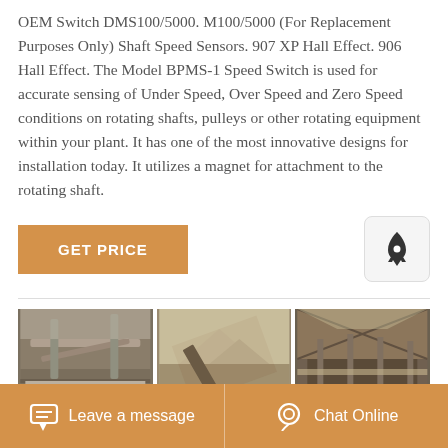OEM Switch DMS100/5000. M100/5000 (For Replacement Purposes Only) Shaft Speed Sensors. 907 XP Hall Effect. 906 Hall Effect. The Model BPMS-1 Speed Switch is used for accurate sensing of Under Speed, Over Speed and Zero Speed conditions on rotating shafts, pulleys or other rotating equipment within your plant. It has one of the most innovative designs for installation today. It utilizes a magnet for attachment to the rotating shaft.
[Figure (other): Orange GET PRICE button and rocket icon button]
[Figure (photo): Three industrial photos showing conveyor belts and mining/processing plant equipment]
Leave a message   Chat Online